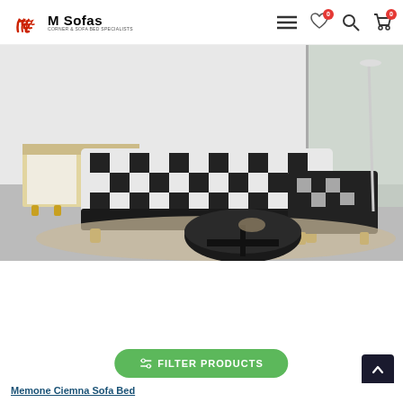M Sofas — CORNER & SOFA BED SPECIALISTS
[Figure (photo): Showroom photo of a black and white checkered sofa set with armchair and round coffee table on a beige rug in a modern living room setting]
FILTER PRODUCTS
Memone Ciemna Sofa Bed